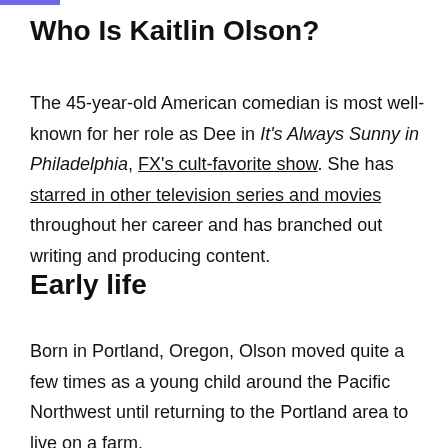Who Is Kaitlin Olson?
The 45-year-old American comedian is most well-known for her role as Dee in It's Always Sunny in Philadelphia, FX's cult-favorite show. She has starred in other television series and movies throughout her career and has branched out writing and producing content.
Early life
Born in Portland, Oregon, Olson moved quite a few times as a young child around the Pacific Northwest until returning to the Portland area to live on a farm.